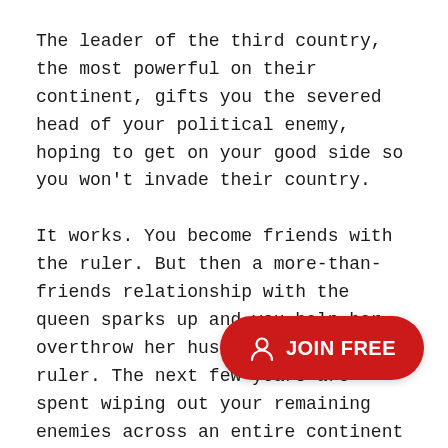The leader of the third country, the most powerful on their continent, gifts you the severed head of your political enemy, hoping to get on your good side so you won't invade their country.
It works. You become friends with the ruler. But then a more-than-friends relationship with the queen sparks up and you help her overthrow her husband and become ruler. The next few years are spent wiping out your remaining enemies across an entire continent and a half.
At age 55 you are made dic country, the majority of the free world at that time. Highlights of your rule include:
[Figure (other): Red rounded button with person/user icon and text 'JOIN FREE']